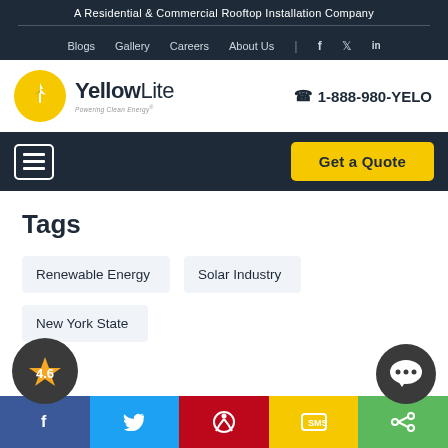A Residential & Commercial Rooftop Installation Company
Blogs  Gallery  Careers  About Us  f  t  in
[Figure (logo): YellowLite logo — yellow circle with wind turbine, bold text 'YellowLite', tagline 'Powering Clean Energy']
1-888-980-YELO
[Figure (screenshot): Hamburger menu icon (three horizontal lines in white rectangle)]
Get a Quote
Tags
Renewable Energy
Solar Industry
New York State
4.6
f  Twitter  Pinterest  SMS  Share